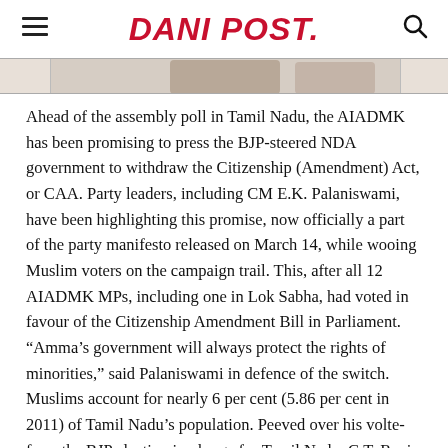DANI POST.
[Figure (photo): Partial photo strip showing two people, cropped at top of article]
Ahead of the assembly poll in Tamil Nadu, the AIADMK has been promising to press the BJP-steered NDA government to withdraw the Citizenship (Amendment) Act, or CAA. Party leaders, including CM E.K. Palaniswami, have been highlighting this promise, now officially a part of the party manifesto released on March 14, while wooing Muslim voters on the campaign trail. This, after all 12 AIADMK MPs, including one in Lok Sabha, had voted in favour of the Citizenship Amendment Bill in Parliament. “Amma’s government will always protect the rights of minorities,” said Palaniswami in defence of the switch. Muslims account for nearly 6 per cent (5.86 per cent in 2011) of Tamil Nadu’s population. Peeved over his volte-face, the BJP election in-charge for Tamil Nadu, C.T. Ravi, asserted that the CAA will